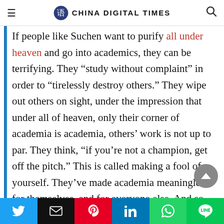CHINA DIGITAL TIMES
If people like Suchen want to purify all under heaven and go into academics, they can be terrifying. They “study without complaint” in order to “tirelessly destroy others.” They wipe out others on sight, under the impression that under all of heaven, only their corner of academia is academia, others’ work is not up to par. They think, “if you’re not a champion, get off the pitch.” This is called making a fool of yourself. They’ve made academia meaningless for themselves, and for everyone else. And so scholarship and humanity are both destroyed.
Social share bar: Twitter, Email, Pinterest, LinkedIn, WhatsApp, LINE